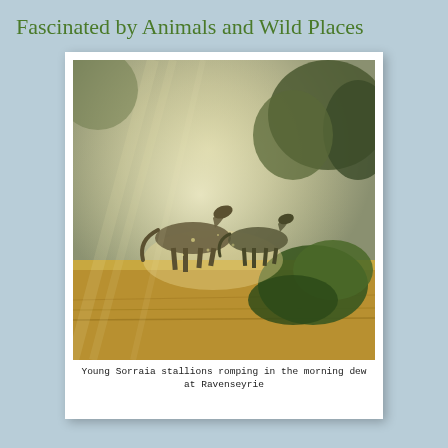Fascinated by Animals and Wild Places
[Figure (photo): Two young Sorraia stallions running through a misty golden field with trees in the background, backlit by morning light, at Ravenseyrie.]
Young Sorraia stallions romping in the morning dew at Ravenseyrie